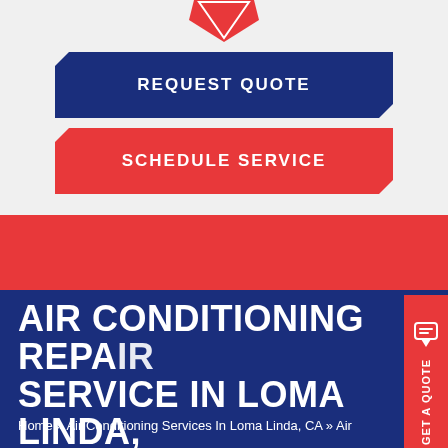[Figure (logo): Company shield/logo at top center, partially cropped]
REQUEST QUOTE
SCHEDULE SERVICE
AIR CONDITIONING REPAIR SERVICE IN LOMA LINDA, CA
Home » Air Conditioning Services In Loma Linda, CA » Air
GET A QUOTE